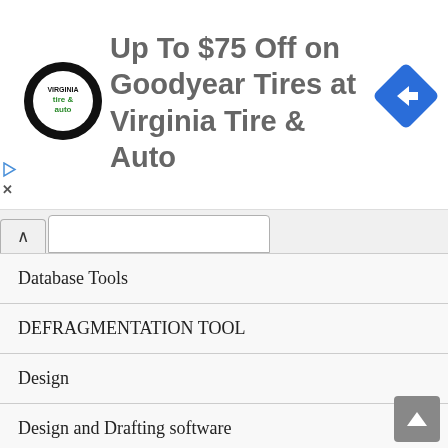[Figure (infographic): Advertisement banner: Virginia Tire & Auto logo on the left, text 'Up To $75 Off on Goodyear Tires at Virginia Tire & Auto' in center, blue diamond navigation arrow icon on the right. Small play and close icons on the far left edge.]
Database Tools
DEFRAGMENTATION TOOL
Design
Design and Drafting software
Digital Photo Tools
Document Converter
download manager
Downloader
Driver